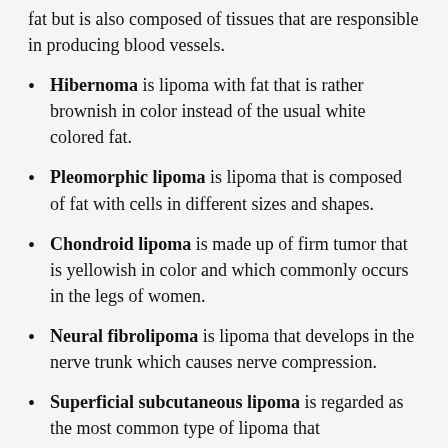fat but is also composed of tissues that are responsible in producing blood vessels.
Hibernoma is lipoma with fat that is rather brownish in color instead of the usual white colored fat.
Pleomorphic lipoma is lipoma that is composed of fat with cells in different sizes and shapes.
Chondroid lipoma is made up of firm tumor that is yellowish in color and which commonly occurs in the legs of women.
Neural fibrolipoma is lipoma that develops in the nerve trunk which causes nerve compression.
Superficial subcutaneous lipoma is regarded as the most common type of lipoma that